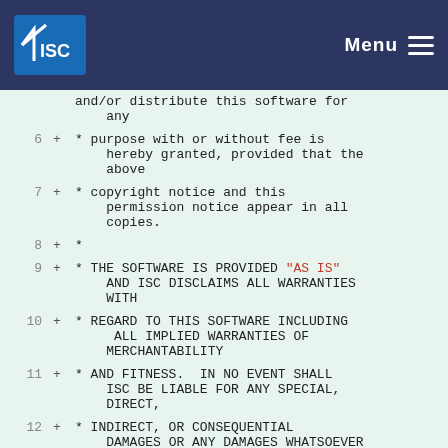ISC Menu
and/or distribute this software for any
6 + * purpose with or without fee is hereby granted, provided that the above
7 + * copyright notice and this permission notice appear in all copies.
8 + *
9 + * THE SOFTWARE IS PROVIDED "AS IS" AND ISC DISCLAIMS ALL WARRANTIES WITH
10 + * REGARD TO THIS SOFTWARE INCLUDING ALL IMPLIED WARRANTIES OF MERCHANTABILITY
11 + * AND FITNESS.  IN NO EVENT SHALL ISC BE LIABLE FOR ANY SPECIAL, DIRECT,
12 + * INDIRECT, OR CONSEQUENTIAL DAMAGES OR ANY DAMAGES WHATSOEVER